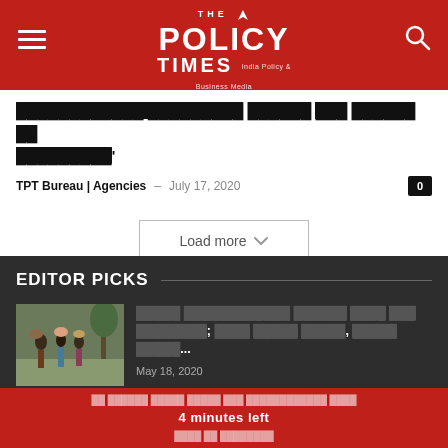The Policy Times - India Policy & Business Media
█████████ ████████ ██████ ██████ ██ █████████'
TPT Bureau | Agencies – July 17, 2020
Load more
EDITOR PICKS
[Figure (photo): Group of people carrying items on their heads, standing on a path]
█████ ████████████ ██████ ████ ███ ████████; ████ █████ █████, █████ █████... May 18, 2020
4 minutes left